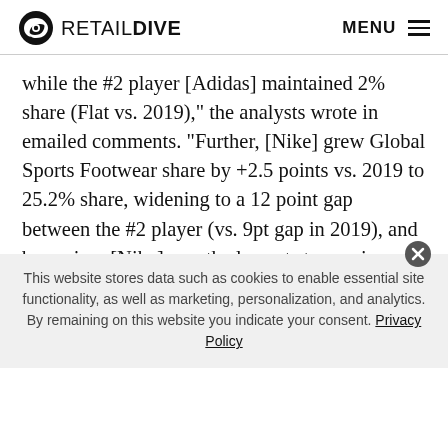RETAIL DIVE   MENU
while the #2 player [Adidas] maintained 2% share (Flat vs. 2019),” the analysts wrote in emailed comments. “Further, [Nike] grew Global Sports Footwear share by +2.5 points vs. 2019 to 25.2% share, widening to a 12 point gap between the #2 player (vs. 9pt gap in 2019), and by region, [Nike] saw the largest step-up in market share within the US Apparel & Footwear category, +1.1 points from 2019 to 6.2% share (#1 share).”
This website stores data such as cookies to enable essential site functionality, as well as marketing, personalization, and analytics. By remaining on this website you indicate your consent. Privacy Policy